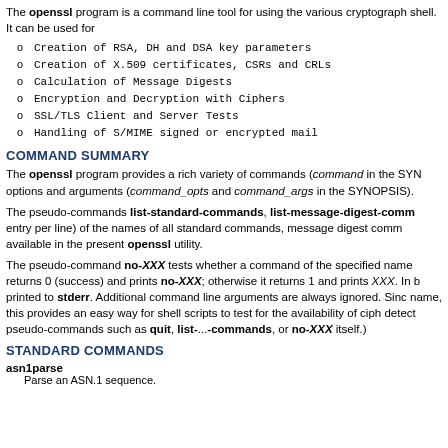The openssl program is a command line tool for using the various cryptographic routines of OpenSSL's crypto library from the shell. It can be used for
Creation of RSA, DH and DSA key parameters
Creation of X.509 certificates, CSRs and CRLs
Calculation of Message Digests
Encryption and Decryption with Ciphers
SSL/TLS Client and Server Tests
Handling of S/MIME signed or encrypted mail
COMMAND SUMMARY
The openssl program provides a rich variety of commands (command in the SYNOPSIS above). Each command can have many options and arguments (command_opts and command_args in the SYNOPSIS).
The pseudo-commands list-standard-commands, list-message-digest-commands, and list-cipher-commands output a list (one entry per line) of the names of all standard commands, message digest commands, or cipher commands, respectively, that are available in the present openssl utility.
The pseudo-command no-XXX tests whether a command of the specified name is available. If no command named XXX exists, it returns 0 (success) and prints no-XXX; otherwise it returns 1 and prints XXX. In both cases, the output goes to stdout and errors go to stderr. Additional command line arguments are always ignored. Since for each cipher there is a command of the same name, this provides an easy way for shell scripts to test for the availability of ciphers in the openssl program. (no-XXX is not able to detect pseudo-commands such as quit, list-...-commands, or no-XXX itself.)
STANDARD COMMANDS
asn1parse
Parse an ASN.1 sequence.